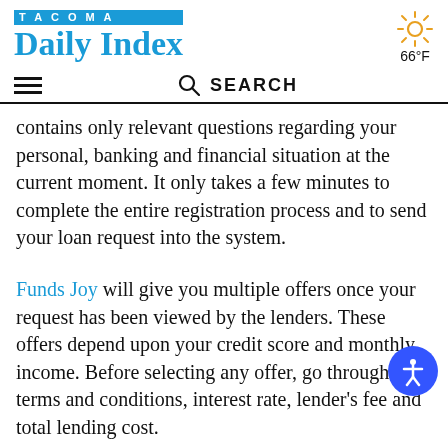TACOMA Daily Index
66°F
SEARCH
contains only relevant questions regarding your personal, banking and financial situation at the current moment. It only takes a few minutes to complete the entire registration process and to send your loan request into the system.
Funds Joy will give you multiple offers once your request has been viewed by the lenders. These offers depend upon your credit score and monthly income. Before selecting any offer, go through the terms and conditions, interest rate, lender's fee and total lending cost.
If you are completely satisfied with the terms then